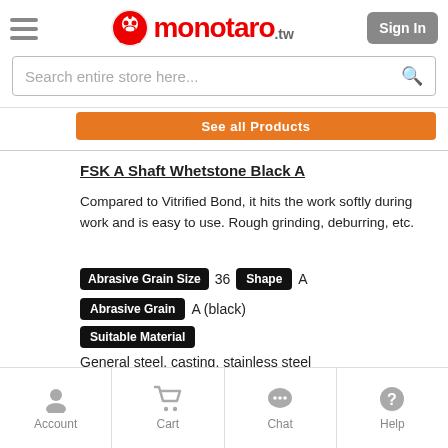monotaro.tw — Sign In
Search entire store here...
See all Products
FSK A Shaft Whetstone Black A
Compared to Vitrified Bond, it hits the work softly during work and is easy to use. Rough grinding, deburring, etc.
Abrasive Grain Size  36  Shape  A
Abrasive Grain  A (black)
Suitable Material
General steel, casting, stainless steel
Bonding Strength  P  Binder  Resinoid
Account  Cart  Chat  Help